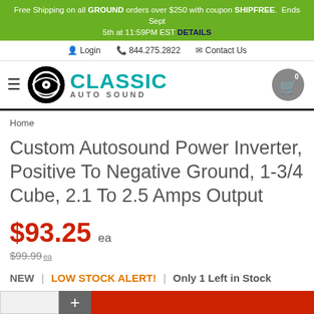Free Shipping on all GROUND orders over $250 with coupon SHIPFREE. Ends Sept 5th at 11:59PM EST DETAILS
Login  844.275.2822  Contact Us
[Figure (logo): Classic Auto Sound logo with speaker icon and teal CLASSIC AUTO SOUND text]
Home
Custom Autosound Power Inverter, Positive To Negative Ground, 1-3/4 Cube, 2.1 To 2.5 Amps Output
$93.25 ea
$99.99 ea
NEW  |  LOW STOCK ALERT!  |  Only 1 Left in Stock